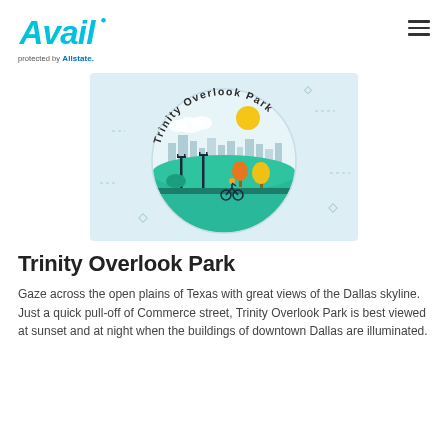Avail protected by Allstate
[Figure (illustration): Illustrated graphic of Trinity Overlook Park showing a circular scene with a cyclist on a green path, colorful trees, city skyline in background, sun, and the text 'Trinity Overlook Park' arcing across the top. Light blue background with decorative geometric dashes around the circle.]
Trinity Overlook Park
Gaze across the open plains of Texas with great views of the Dallas skyline. Just a quick pull-off of Commerce street, Trinity Overlook Park is best viewed at sunset and at night when the buildings of downtown Dallas are illuminated.